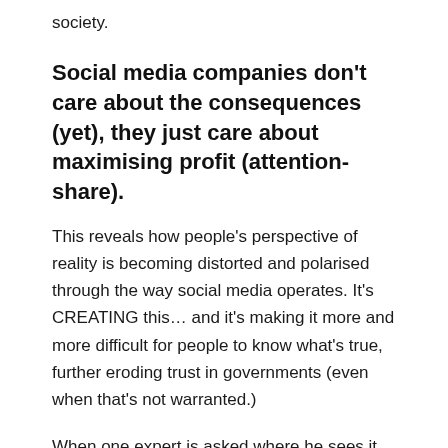society.
Social media companies don't care about the consequences (yet), they just care about maximising profit (attention-share).
This reveals how people's perspective of reality is becoming distorted and polarised through the way social media operates. It's CREATING this… and it's making it more and more difficult for people to know what's true, further eroding trust in governments (even when that's not warranted.)
When one expert is asked where he sees it all going, he point blank says: 'Civil War'.
Yup, I see that too. When people can no longer listen to each other with openness and curiosity,